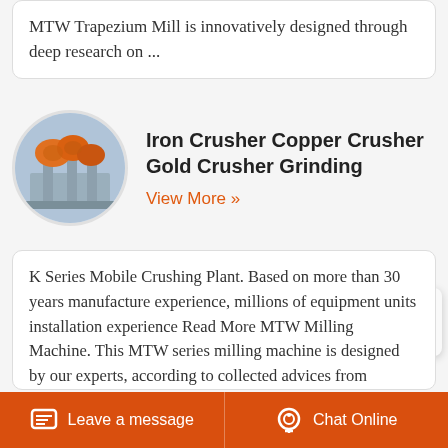MTW Trapezium Mill is innovatively designed through deep research on ...
[Figure (photo): Industrial crusher machines with orange covers on elevated platform]
Iron Crusher Copper Crusher Gold Crusher Grinding
View More »
K Series Mobile Crushing Plant. Based on more than 30 years manufacture experience, millions of equipment units installation experience Read More MTW Milling Machine. This MTW series milling machine is designed by our experts, according to collected advices from customers Read More T130X Reinforced Ultrafine Mill As Chinas largest crushing
Leave a message   Chat Online